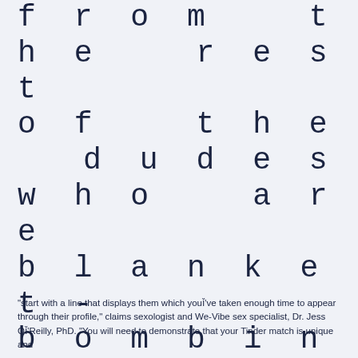from the rest of the dudes who are blanket-bombing ladies' Tinder profiles with emojis or "'sup."
"start with a line that displays them which you've taken enough time to appear through their profile," claims sexologist and We-Vibe sex specialist, Dr. Jess O'Reilly, PhD. "You will need to demonstrate that your Tinder match is unique and